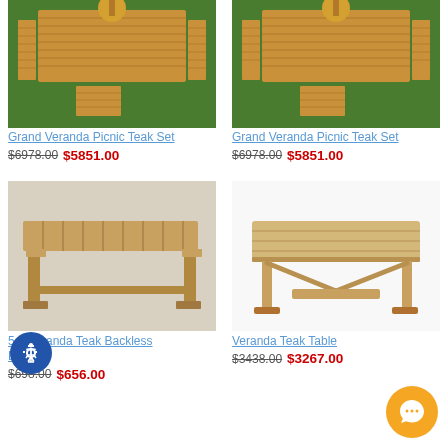[Figure (photo): Overhead view of Grand Veranda Picnic Teak Set on green lawn, showing long table with benches and umbrella]
Grand Veranda Picnic Teak Set
$6978.00 $5851.00
[Figure (photo): Overhead view of Grand Veranda Picnic Teak Set on green lawn, showing long table with benches and umbrella (duplicate listing)]
Grand Veranda Picnic Teak Set
$6978.00 $5851.00
[Figure (photo): 5 ft Veranda Teak Backless Bench on concrete patio]
5 ft Veranda Teak Backless Bench
$698.00 $656.00
[Figure (photo): Veranda Teak Table, rectangular extension table on white background]
Veranda Teak Table
$3438.00 $3267.00